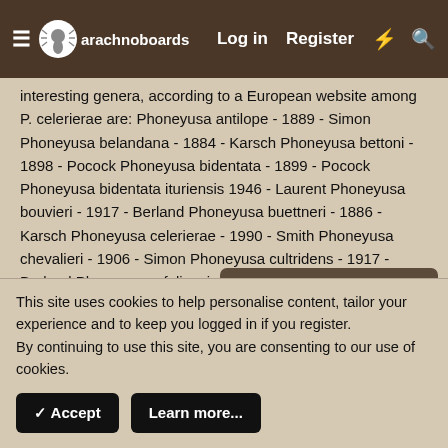arachnoboards — Log in  Register
interesting genera, according to a European website among P. celerierae are: Phoneyusa antilope - 1889 - Simon Phoneyusa belandana - 1884 - Karsch Phoneyusa bettoni - 1898 - Pocock Phoneyusa bidentata - 1899 - Pocock Phoneyusa bidentata ituriensis 1946 - Laurent Phoneyusa bouvieri - 1917 - Berland Phoneyusa buettneri - 1886 - Karsch Phoneyusa celerierae - 1990 - Smith Phoneyusa chevalieri - 1906 - Simon Phoneyusa cultridens - 1917 - Berland Phoneyusa efuliensis - 1990 - Smith Phoneyusa elephantiasis - 1917 - Berland Phoneyusa gabonica - 1889 - Simon Phoneyusa giltayi - 1946 - Laurent Phoneyusa gradipes - 1889 - Simon Phoneyusa gregori - 1897 - Pocock Phoneyusa … Phoneyusa manicata - 1907 - … Phoneyusa minima - 1907 - Strand Phoneyusa mutuca - 1885 - Karsch Phoneyusa nioroventris - 1893 - Marx Phoneyusa principium - 1907 - Simon Phoneyusa
Hello there, why not take a few seconds to register on our forums and become part of the community? Just click here.
This site uses cookies to help personalise content, tailor your experience and to keep you logged in if you register.
By continuing to use this site, you are consenting to our use of cookies.
✓ Accept   Learn more...